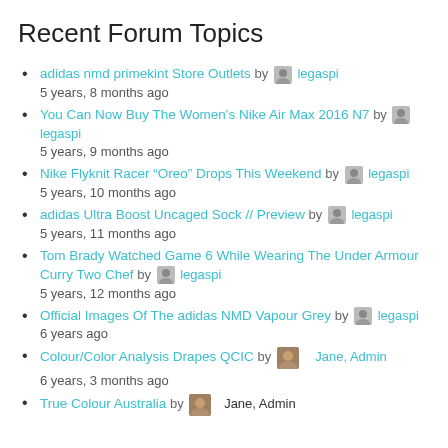Recent Forum Topics
adidas nmd primekint Store Outlets by legaspi
5 years, 8 months ago
You Can Now Buy The Women's Nike Air Max 2016 N7 by legaspi
5 years, 9 months ago
Nike Flyknit Racer “Oreo” Drops This Weekend by legaspi
5 years, 10 months ago
adidas Ultra Boost Uncaged Sock // Preview by legaspi
5 years, 11 months ago
Tom Brady Watched Game 6 While Wearing The Under Armour Curry Two Chef by legaspi
5 years, 12 months ago
Official Images Of The adidas NMD Vapour Grey by legaspi
6 years ago
Colour/Color Analysis Drapes QCIC by Jane, Admin
6 years, 3 months ago
True Colour Australia by Jane, Admin